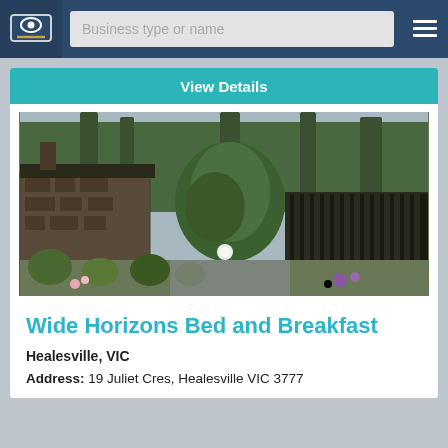Business type or name
View Details
[Figure (photo): Exterior photo of Wide Horizons Bed and Breakfast property showing a rustic stone and dark wood building surrounded by lush greenery, garden plants and trees]
Wide Horizons Bed and Breakfast
Healesville, VIC
Address: 19 Juliet Cres, Healesville VIC 3777